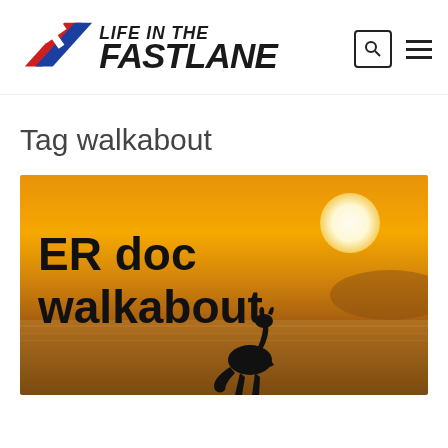[Figure (logo): Life in the Fast Lane logo with red and blue arrow/cross icon and bold italic text 'LIFE IN THE FASTLANE']
Tag walkabout
[Figure (photo): Sunset photo with a kangaroo silhouette on a beach, orange/golden sky with white sun visible, text overlay reads 'ER doc walkabout' in bold black letters]